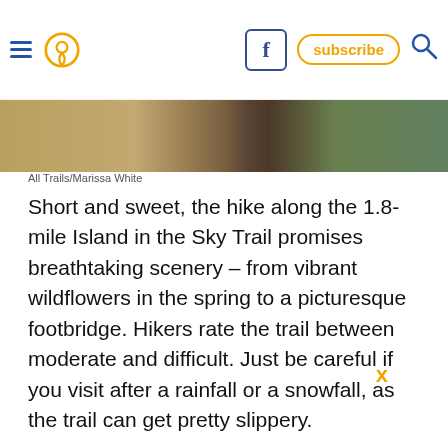AllTrails navigation header with hamburger menu, location pin icon, Facebook button, subscribe button, and search icon
[Figure (photo): Outdoor trail scenery showing rocky/sandy ground on left, a person in the middle, and green grass on the right]
All Trails/Marissa White
Short and sweet, the hike along the 1.8-mile Island in the Sky Trail promises breathtaking scenery – from vibrant wildflowers in the spring to a picturesque footbridge. Hikers rate the trail between moderate and difficult. Just be careful if you visit after a rainfall or a snowfall, as the trail can get pretty slippery.